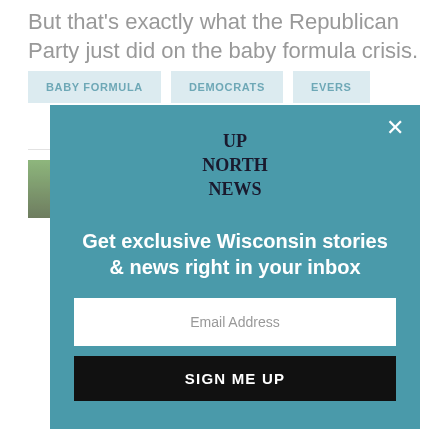But that's exactly what the Republican Party just did on the baby formula crisis.
BABY FORMULA
DEMOCRATS
EVERS
R...
[Figure (other): Up North News newsletter signup modal overlay on a teal/blue-green background. Contains the Up North News logo, headline 'Get exclusive Wisconsin stories & news right in your inbox', an email address input field, a 'SIGN ME UP' button, and an X close button.]
Jo... worked... Co... Bu... Milwaukee and is the Founder and President of Zepecki Communications.
[Figure (photo): Partial photo at bottom of page, showing green foliage background with person partially visible.]